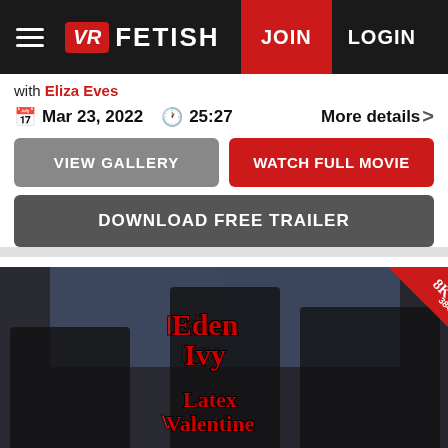VR FETISH | JOIN | LOGIN
With Eliza Eves
Mar 23, 2022   25:27   More details >
VIEW GALLERY
WATCH FULL MOVIE
DOWNLOAD FREE TRAILER
[Figure (photo): Movie thumbnail showing Eden Ivy - Latex Valentine, two women in black latex outfits, with 8K 3840p badge in top right corner]